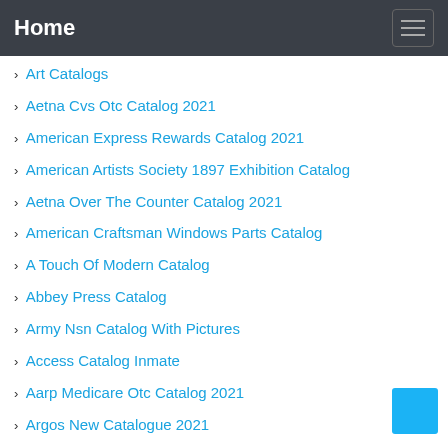Home
Art Catalogs
Aetna Cvs Otc Catalog 2021
American Express Rewards Catalog 2021
American Artists Society 1897 Exhibition Catalog
Aetna Over The Counter Catalog 2021
American Craftsman Windows Parts Catalog
A Touch Of Modern Catalog
Abbey Press Catalog
Army Nsn Catalog With Pictures
Access Catalog Inmate
Aarp Medicare Otc Catalog 2021
Argos New Catalogue 2021